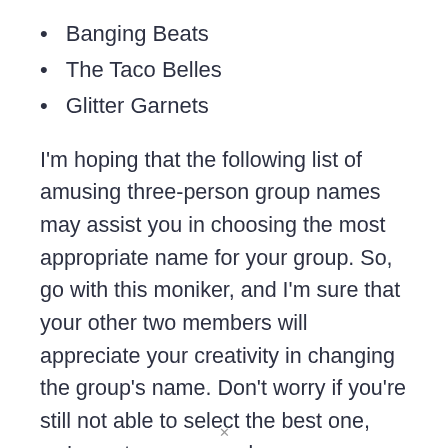Banging Beats
The Taco Belles
Glitter Garnets
I'm hoping that the following list of amusing three-person group names may assist you in choosing the most appropriate name for your group. So, go with this moniker, and I'm sure that your other two members will appreciate your creativity in changing the group's name. Don't worry if you're still not able to select the best one, we've got you covered some more fantastic options below. Check them out!